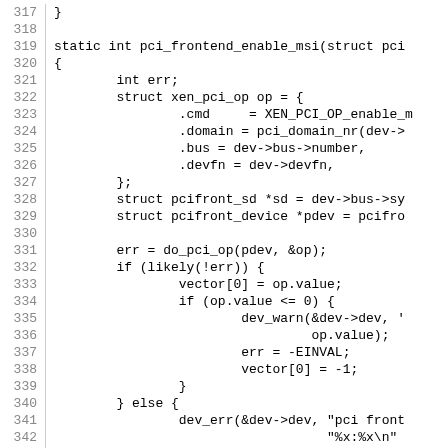[Figure (screenshot): Source code listing in C showing lines 317-346 of a Linux kernel PCI frontend driver function pci_frontend_enable_msi, with line numbers on the left and code on the right.]